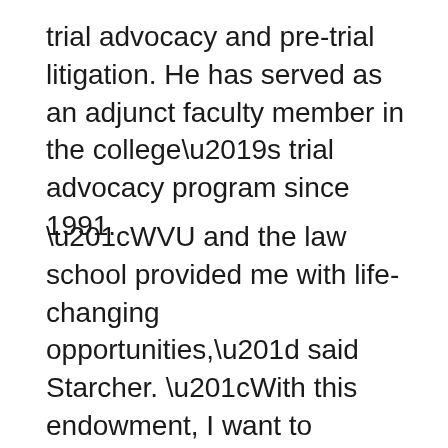trial advocacy and pre-trial litigation. He has served as an adjunct faculty member in the college's trial advocacy program since 1991.
“WVU and the law school provided me with life-changing opportunities,” said Starcher. “With this endowment, I want to acknowledge that in a meaningful way while supporting the future of legal education in our state.”